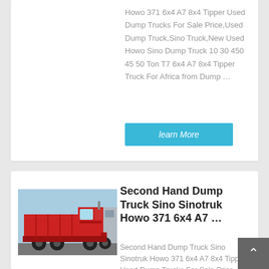Howo 371 6x4 A7 8x4 Tipper Used Dump Trucks For Sale Price,Used Dump Truck,Sino Truck,New Used Howo Sino Dump Truck 10 30 450 45 50 Ton T7 6x4 A7 8x4 Tipper Truck For Africa from Dump …
learn More
[Figure (photo): Red Sino Sinotruk Howo dump truck / tipper truck, side view, parked outdoors]
Second Hand Dump Truck Sino Sinotruk Howo 371 6x4 A7 …
Second Hand Dump Truck Sino Sinotruk Howo 371 6x4 A7 8x4 Tipper Used Dump Trucks For Sale Price